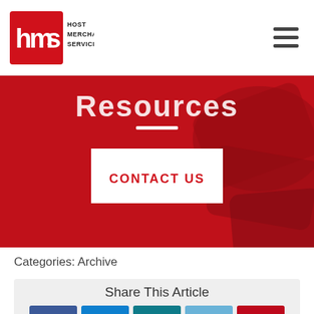Host Merchant Services
[Figure (screenshot): Host Merchant Services logo with red box containing HMS letters and company name text]
Resources
[Figure (illustration): CONTACT US button on red hero banner background with credit card imagery]
Categories: Archive
Share This Article
[Figure (infographic): Five social share buttons: Facebook (dark blue), LinkedIn (blue), Twitter (teal), Tumblr (light blue), Pinterest (red)]